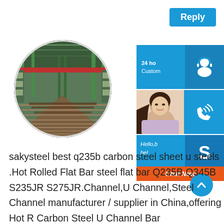Reply
[Figure (photo): Circular cropped photo of a steel factory interior with green overhead cranes and steel bars on conveyor rollers]
[Figure (screenshot): Customer service chat widget with 24 hour customer service icon, phone icon, Skype icon, and Chat Now button]
sakysteel best q235b carbon steel sheet u steels .Hot Rolled Flat Bar steel flat bar Q235B Q345B S235JR S275JR.Channel,U Channel,Steel Channel manufacturer / supplier in China,offering Hot R Carbon Steel U Channel Bar (Q235,SS400,ASTM A36,St37,S235JR,S355JR),Q235B Hot Rolled Checker